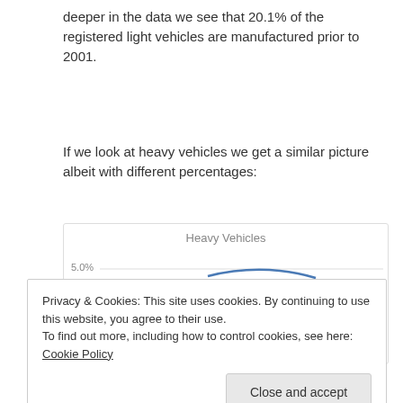deeper in the data we see that 20.1% of the registered light vehicles are manufactured prior to 2001.
If we look at heavy vehicles we get a similar picture albeit with different percentages:
[Figure (continuous-plot): Partially visible line chart titled 'Heavy Vehicles' showing a blue line with y-axis label 5.0%, chart is cut off at the bottom by a cookie consent banner.]
Privacy & Cookies: This site uses cookies. By continuing to use this website, you agree to their use.
To find out more, including how to control cookies, see here: Cookie Policy
Close and accept